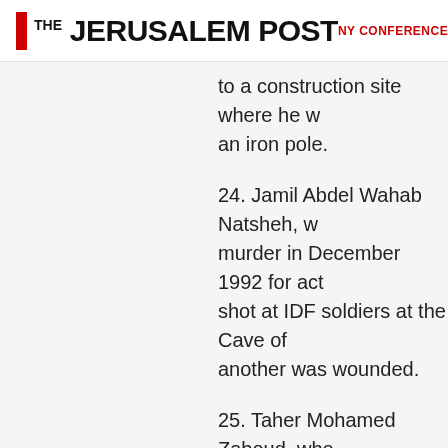THE JERUSALEM POST | NY CONFERENCE | ISRAEL
to a construction site where he w an iron pole.
24. Jamil Abdel Wahab Natsheh, w murder in December 1992 for act shot at IDF soldiers at the Cave of another was wounded.
25. Taher Mohamed Zaboud, who hijacking a vehicle and attempting fired shots at the driver, Avraham not carrying a weapon.